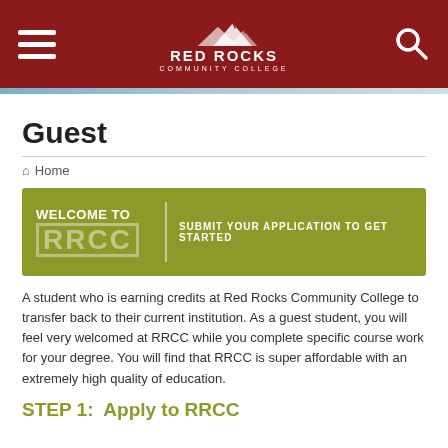[Figure (logo): Red Rocks Community College header with hamburger menu, mountain logo, college name, and search icon on dark red background]
Guest
Home
[Figure (illustration): Green banner with WELCOME TO RRCC text and SUBMIT YOUR APPLICATION TO GET STARTED, with building in background]
A student who is earning credits at Red Rocks Community College to transfer back to their current institution. As a guest student, you will feel very welcomed at RRCC while you complete specific course work for your degree. You will find that RRCC is super affordable with an extremely high quality of education.
STEP 1:  Apply to RRCC